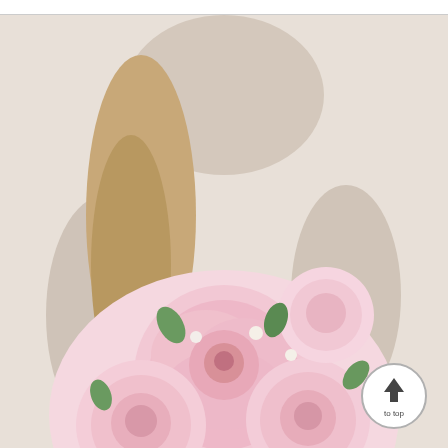[Figure (photo): A bride holding a large bouquet of light pink peonies with green accents against a white background.]
The Serene Highness™ Bouquet
$514.99
[Figure (other): Back to top button — circular grey border with up arrow and text 'to top']